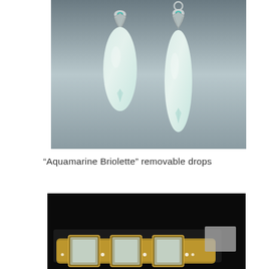[Figure (photo): Two aquamarine briolette pendant drops on a grey gradient background. Both drops are pale green/white teardrop-shaped gemstones held by silver claw settings with small teal stones at the top. The left pendant has no visible bail; the right pendant has a silver ring bail at the top.]
“Aquamarine Briolette” removable drops
[Figure (photo): A partially visible jewelry piece on a black background. Gold-toned rings or bracelets with what appear to be square gemstones and diamond accents are shown at the bottom of the image. A small grey rectangle (possibly a size reference or label) is visible at the right side.]